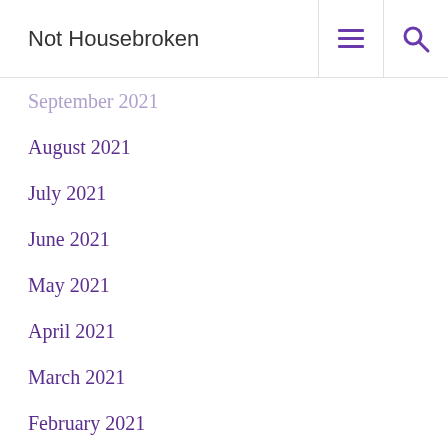Not Housebroken
September 2021
August 2021
July 2021
June 2021
May 2021
April 2021
March 2021
February 2021
January 2021
December 2020
November 2020
October 2020